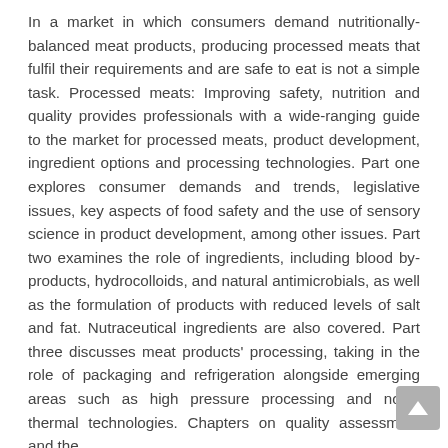In a market in which consumers demand nutritionally-balanced meat products, producing processed meats that fulfil their requirements and are safe to eat is not a simple task. Processed meats: Improving safety, nutrition and quality provides professionals with a wide-ranging guide to the market for processed meats, product development, ingredient options and processing technologies. Part one explores consumer demands and trends, legislative issues, key aspects of food safety and the use of sensory science in product development, among other issues. Part two examines the role of ingredients, including blood by-products, hydrocolloids, and natural antimicrobials, as well as the formulation of products with reduced levels of salt and fat. Nutraceutical ingredients are also covered. Part three discusses meat products' processing, taking in the role of packaging and refrigeration alongside emerging areas such as high pressure processing and novel thermal technologies. Chapters on quality assessment and the